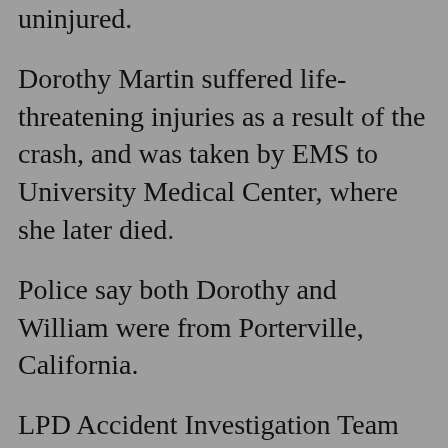uninjured.
Dorothy Martin suffered life-threatening injuries as a result of the crash, and was taken by EMS to University Medical Center, where she later died.
Police say both Dorothy and William were from Porterville, California.
LPD Accident Investigation Team investigators responded to the scene to determine where the trailer hitch came from, but had no clues by Thursday afternoon, said Lubbock police Lt. Ray Mendoza.